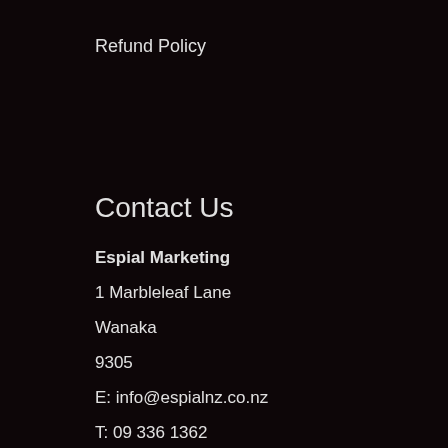Refund Policy
Contact Us
Espial Marketing
1 Marbleleaf Lane
Wanaka
9305
E: info@espialnz.co.nz
T: 09 336 1362